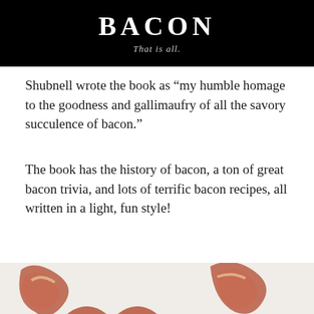[Figure (photo): Black background image with large bold white text 'BACON' and italic subtitle 'That is all.' in gray]
Shubnell wrote the book as “my humble homage to the goodness and gallimaufry of all the savory succulence of bacon.”
The book has the history of bacon, a ton of great bacon trivia, and lots of terrific bacon recipes, all written in a light, fun style!
[Figure (photo): Photo of bacon strips arranged in heart shapes on a white surface]